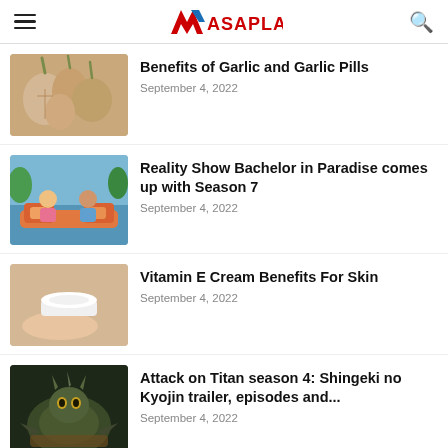ASAPLAND
[Figure (photo): Close-up photo of garlic bulbs and cloves]
Benefits of Garlic and Garlic Pills
September 4, 2022
[Figure (photo): Two people sitting on a colorful couch outdoors, reality show scene]
Reality Show Bachelor in Paradise comes up with Season 7
September 4, 2022
[Figure (photo): Hand holding a white cream jar on a beige background]
Vitamin E Cream Benefits For Skin
September 4, 2022
[Figure (photo): Dark fantasy creature, Attack on Titan themed illustration]
Attack on Titan season 4: Shingeki no Kyojin trailer, episodes and...
September 4, 2022